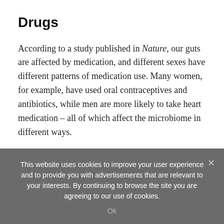Drugs
According to a study published in Nature, our guts are affected by medication, and different sexes have different patterns of medication use. Many women, for example, have used oral contraceptives and antibiotics, while men are more likely to take heart medication – all of which affect the microbiome in different ways.
“There is room for much more research to be done in
This website uses cookies to improve your user experience and to provide you with advertisements that are relevant to your interests. By continuing to browse the site you are agreeing to our use of cookies.
Ok